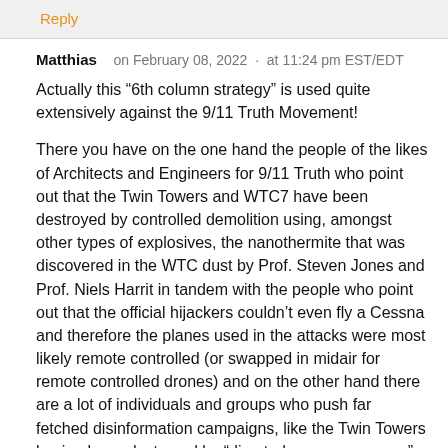Reply
Matthias   on February 08, 2022  ·  at 11:24 pm EST/EDT
Actually this “6th column strategy” is used quite extensively against the 9/11 Truth Movement!
There you have on the one hand the people of the likes of Architects and Engineers for 9/11 Truth who point out that the Twin Towers and WTC7 have been destroyed by controlled demolition using, amongst other types of explosives, the nanothermite that was discovered in the WTC dust by Prof. Steven Jones and Prof. Niels Harrit in tandem with the people who point out that the official hijackers couldn’t even fly a Cessna and therefore the planes used in the attacks were most likely remote controlled (or swapped in midair for remote controlled drones) and on the other hand there are a lot of individuals and groups who push far fetched disinformation campaigns, like the Twin Towers having been destroyed by “directed energy weapons” fired on them from outer space (the Judy Wood theory) or having been destroyed by “mini nukes” as well as people who claim the planes were actually “advanced technology holograms”